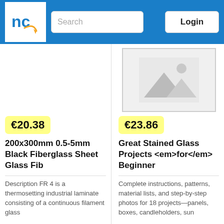nc [logo] Search [input] Login [button]
[Figure (other): Left product: no image placeholder (empty)]
€20.38
200x300mm 0.5-5mm Black Fiberglass Sheet Glass Fib
Description FR 4 is a thermosetting industrial laminate consisting of a continuous filament glass
[Figure (photo): Right product: placeholder image with mountain/landscape icon]
€23.86
Great Stained Glass Projects <em>for</em> Beginner
Complete instructions, patterns, material lists, and step-by-step photos for 18 projects—panels, boxes, candleholders, sun